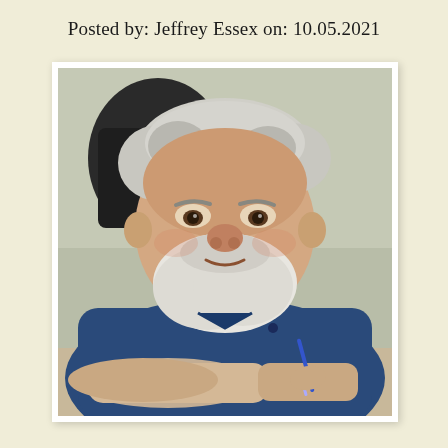Posted by: Jeffrey Essex on: 10.05.2021
[Figure (photo): An elderly man with white hair and a white beard, wearing a dark blue polo shirt, seated at a desk holding a blue pen, looking toward the camera with a slight smile. He appears to be in an indoor setting with a dark chair visible behind him.]